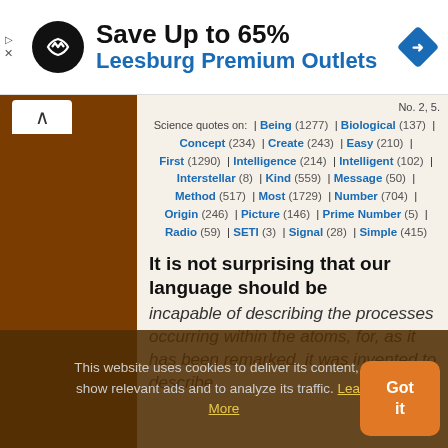[Figure (other): Advertisement banner: black circular logo with double arrow icon, text 'Save Up to 65%' in bold black and 'Leesburg Premium Outlets' in blue, with a blue navigation diamond icon on the right]
No. 2, 5.
Science quotes on: | Being (1277) | Biological (137) | Concept (234) | Create (243) | Easy (210) | First (1290) | Intelligence (214) | Intelligent (102) | Interstellar (8) | Kind (559) | Message (50) | Method (517) | Most (1729) | Number (704) | Origin (246) | Picture (146) | Prime Number (5) | Radio (59) | SETI (3) | Signal (28) | Simple (415)
It is not surprising that our language should be incapable of describing the processes occurring within the atoms, for, as it has been remarked, it was invented to describe
This website uses cookies to deliver its content, to show relevant ads and to analyze its traffic. Learn More